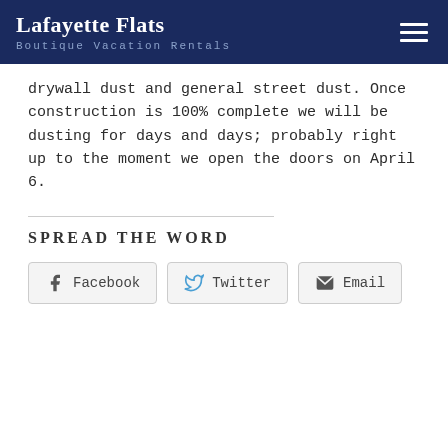Lafayette Flats Boutique Vacation Rentals
drywall dust and general street dust. Once construction is 100% complete we will be dusting for days and days; probably right up to the moment we open the doors on April 6.
SPREAD THE WORD